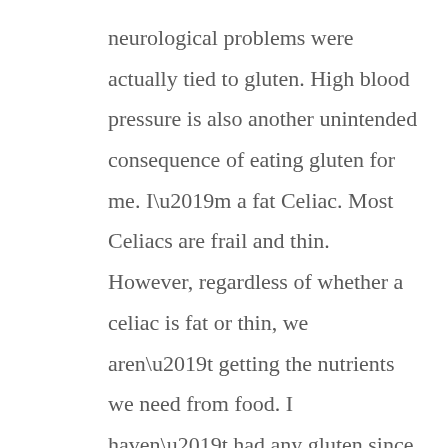neurological problems were actually tied to gluten. High blood pressure is also another unintended consequence of eating gluten for me. I’m a fat Celiac. Most Celiacs are frail and thin. However, regardless of whether a celiac is fat or thin, we aren’t getting the nutrients we need from food. I haven’t had any gluten since I was diagnosed in 2014.
Tweaking my diet has been an ongoing challenge. I’ve made lasting changes to how I eat. You would think that someone who eats as